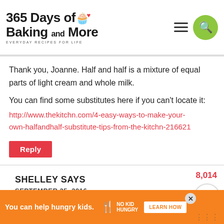365 Days of Baking and More — EVERYDAY RECIPES FOR LIFE
Thank you, Joanne. Half and half is a mixture of equal parts of light cream and whole milk.
You can find some substitutes here if you can't locate it:
http://www.thekitchn.com/4-easy-ways-to-make-your-own-halfandhalf-substitute-tips-from-the-kitchn-216621
Reply
SHELLEY SAYS
SEPTEMBER 25, 2016
will this freeze? I have a new first time mama as of last Friday who you can see in a long time... also him
You can help hungry kids.  LEARN HOW